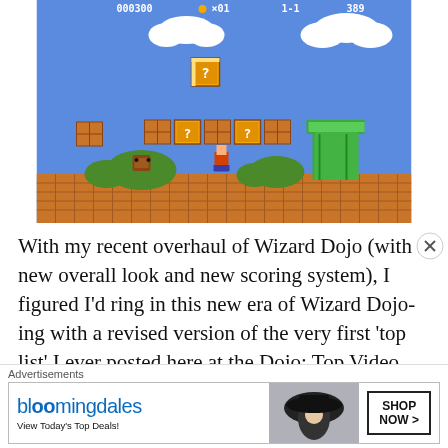[Figure (screenshot): Screenshot of Super Mario Bros NES game showing Mario, question blocks, pipes, and ground tiles against blue sky]
With my recent overhaul of Wizard Dojo (with a new overall look and new scoring system), I figured I’d ring in this new era of Wizard Dojo-ing with a revised version of the very first ‘top list’ I ever posted here at the Dojo: Top Video
Advertisements
[Figure (screenshot): Bloomingdale's advertisement banner: 'bloomingdales - View Today's Top Deals!' with woman in hat image and SHOP NOW > button]